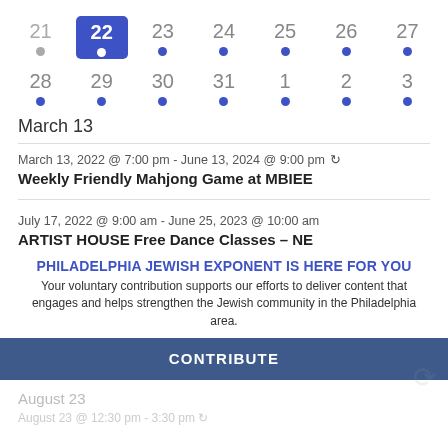[Figure (other): Weekly calendar strip showing dates 21–27 (first row) and 28–3 (second row) with blue dots indicating events. Date 22 is highlighted with a blue background square and white dot. Date 21 has a gray dot. All others have blue dots.]
March 13
March 13, 2022 @ 7:00 pm - June 13, 2024 @ 9:00 pm ↻
Weekly Friendly Mahjong Game at MBIEE
July 17, 2022 @ 9:00 am - June 25, 2023 @ 10:00 am
ARTIST HOUSE Free Dance Classes – NE
PHILADELPHIA JEWISH EXPONENT IS HERE FOR YOU
Your voluntary contribution supports our efforts to deliver content that engages and helps strengthen the Jewish community in the Philadelphia area.
CONTRIBUTE
August 23
August 23 @ 12:30 pm - 3:30 pm ↻